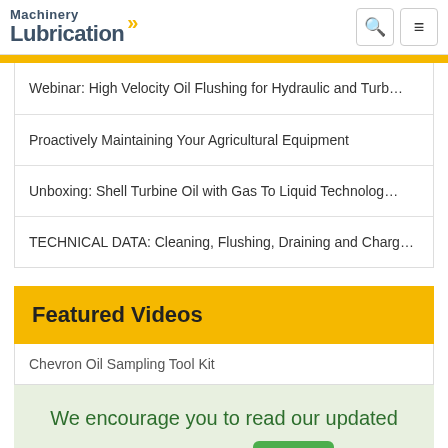Machinery Lubrication
Webinar: High Velocity Oil Flushing for Hydraulic and Turb…
Proactively Maintaining Your Agricultural Equipment
Unboxing: Shell Turbine Oil with Gas To Liquid Technolog…
TECHNICAL DATA: Cleaning, Flushing, Draining and Charg…
Featured Videos
Chevron Oil Sampling Tool Kit
We encourage you to read our updated Privacy Policy  Hide